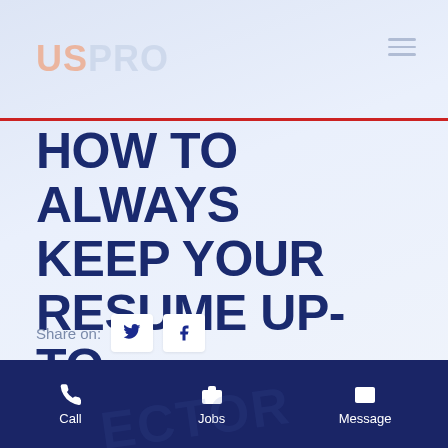USPRO
HOW TO ALWAYS KEEP YOUR RESUME UP-TO-DATE
Share on:
[Figure (photo): Article preview image showing stamp/seal graphics on paper background with text 'RECRUITED' and 'RESOURCES' stamps in red on document paper]
Call  Jobs  Message